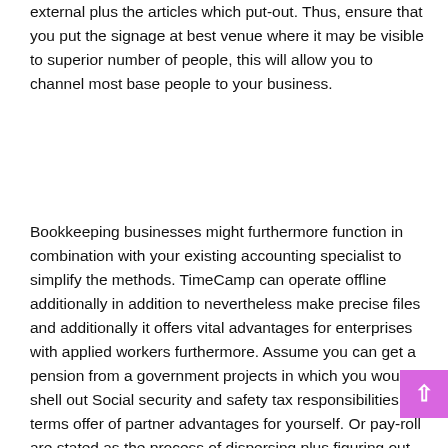external plus the articles which put-out. Thus, ensure that you put the signage at best venue where it may be visible to superior number of people, this will allow you to channel most base people to your business.
Bookkeeping businesses might furthermore function in combination with your existing accounting specialist to simplify the methods. TimeCamp can operate offline additionally in addition to nevertheless make precise files and additionally it offers vital advantages for enterprises with applied workers furthermore. Assume you can get a pension from a government projects in which you wouldn't shell out Social security and safety tax responsibilities, terms offer of partner advantages for yourself. Or pay-roll are stated as the process of dispersing plus figuring out wage as well as tax obligations. An additional methods to manage the dimensions of income a plus preserve on taxation responsibilities while performing this a would be to increase your money to employer-sponsored